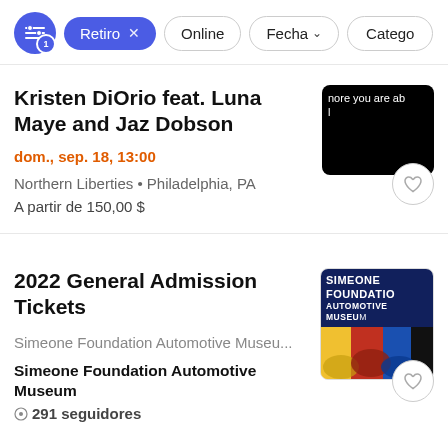Retiro × Online Fecha Catego
Kristen DiOrio feat. Luna Maye and Jaz Dobson
dom., sep. 18, 13:00
Northern Liberties • Philadelphia, PA
A partir de 150,00 $
2022 General Admission Tickets
Simeone Foundation Automotive Museu...
Simeone Foundation Automotive Museum
• 291 seguidores